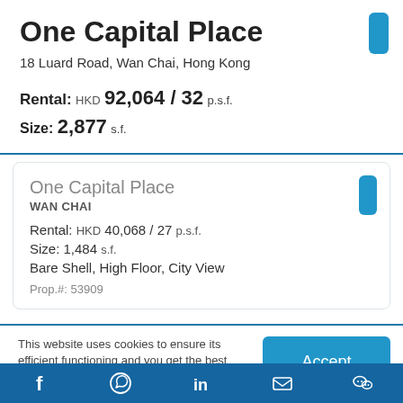One Capital Place
18 Luard Road, Wan Chai, Hong Kong
Rental: HKD 92,064 / 32 p.s.f.
Size: 2,877 s.f.
One Capital Place
WAN CHAI
Rental: HKD 40,068 / 27 p.s.f.
Size: 1,484 s.f.
Bare Shell, High Floor, City View
Prop.#: 53909
This website uses cookies to ensure its efficient functioning and you get the best experience on our
f  WhatsApp  in  mail  WeChat